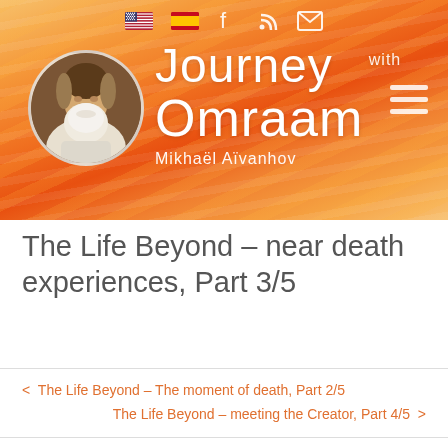[Figure (illustration): Website header banner with warm orange/red sunset gradient background with soft wave-like streaks. Contains circular portrait of white-bearded elderly man on left, 'Journey with Omraam' brand text in white in center, hamburger menu icon on right, and navigation icons (US flag, Spanish flag, Facebook, RSS, email) at top center.]
The Life Beyond – near death experiences, Part 3/5
< The Life Beyond – The moment of death, Part 2/5
The Life Beyond – meeting the Creator, Part 4/5 >